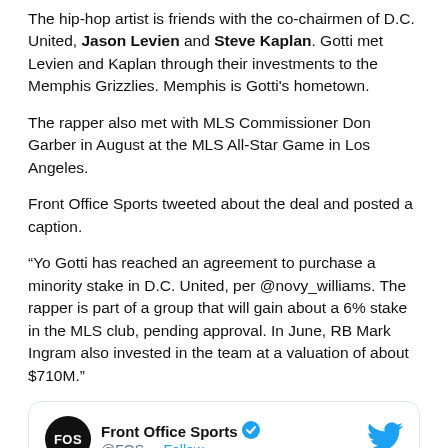The hip-hop artist is friends with the co-chairmen of D.C. United, Jason Levien and Steve Kaplan. Gotti met Levien and Kaplan through their investments to the Memphis Grizzlies. Memphis is Gotti's hometown.
The rapper also met with MLS Commissioner Don Garber in August at the MLS All-Star Game in Los Angeles.
Front Office Sports tweeted about the deal and posted a caption.
“Yo Gotti has reached an agreement to purchase a minority stake in D.C. United, per @novy_williams. The rapper is part of a group that will gain about a 6% stake in the MLS club, pending approval. In June, RB Mark Ingram also invested in the team at a valuation of about $710M.”
[Figure (screenshot): Tweet card from Front Office Sports (@FOS) with verified badge and Follow link, Twitter bird icon in top right, beginning of tweet text: 'Yo Gotti has reached an agreement to']